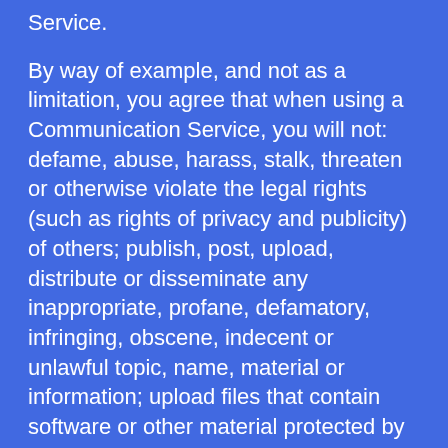Service.
By way of example, and not as a limitation, you agree that when using a Communication Service, you will not: defame, abuse, harass, stalk, threaten or otherwise violate the legal rights (such as rights of privacy and publicity) of others; publish, post, upload, distribute or disseminate any inappropriate, profane, defamatory, infringing, obscene, indecent or unlawful topic, name, material or information; upload files that contain software or other material protected by intellectual property laws (or by rights of privacy of publicity) unless you own or control the rights thereto or have received all necessary consents; upload files that contain viruses, corrupted files, or any other similar software or programs that may damage the operation of another's computer; advertise or offer to sell or buy any goods or services for any business purpose, unless such Communication Service specifically allows such messages; conduct or forward surveys,